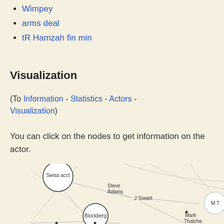Wimpey
arms deal
tR Hamzah fin min
Visualization
(To Information - Statistics - Actors - Visualization)
You can click on the nodes to get information on the actor.
[Figure (network-graph): Network graph showing nodes: Swiss acct, Steve Adams, J Swart, Blockberg, M T (partially visible), Mark Thatche (partially visible), with connecting lines between them.]